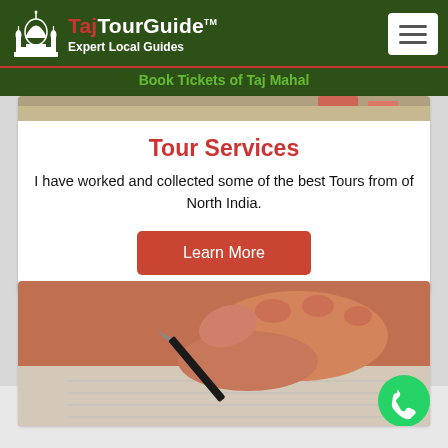TajTourGuide™ Expert Local Guides — Book Tickets of Taj Mahal
[Figure (photo): Partial view of a photo at top of page, showing sandy/outdoor scene cropped.]
Tour Services
I have worked and collected some of the best Tours from of North India.
Learn More
[Figure (photo): Close-up photo of a hand holding a pen, writing on paper, with an orange background. A green WhatsApp phone icon button is visible in the bottom right corner.]